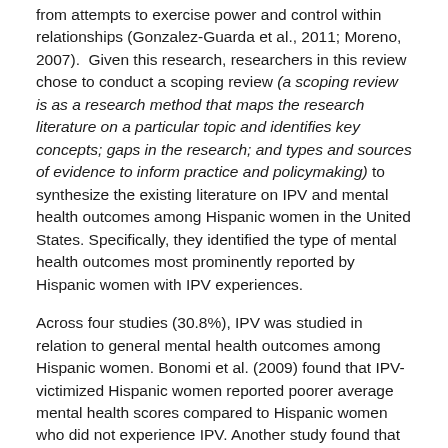from attempts to exercise power and control within relationships (Gonzalez-Guarda et al., 2011; Moreno, 2007).  Given this research, researchers in this review chose to conduct a scoping review (a scoping review is as a research method that maps the research literature on a particular topic and identifies key concepts; gaps in the research; and types and sources of evidence to inform practice and policymaking) to synthesize the existing literature on IPV and mental health outcomes among Hispanic women in the United States. Specifically, they identified the type of mental health outcomes most prominently reported by Hispanic women with IPV experiences.
Across four studies (30.8%), IPV was studied in relation to general mental health outcomes among Hispanic women. Bonomi et al. (2009) found that IPV-victimized Hispanic women reported poorer average mental health scores compared to Hispanic women who did not experience IPV. Another study found that IPV-victimized Hispanic women experienced a greater number of mental